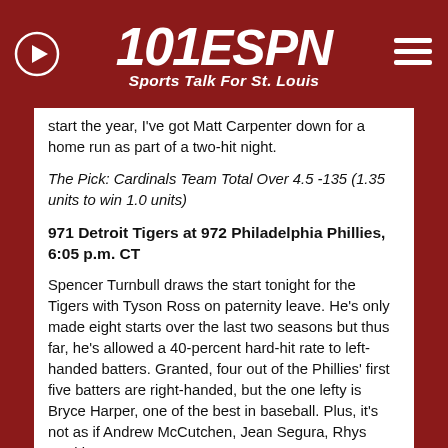[Figure (logo): 101 ESPN Sports Talk For St. Louis logo with play button icon on left and hamburger menu on right]
start the year, I've got Matt Carpenter down for a home run as part of a two-hit night.
The Pick: Cardinals Team Total Over 4.5 -135 (1.35 units to win 1.0 units)
971 Detroit Tigers at 972 Philadelphia Phillies, 6:05 p.m. CT
Spencer Turnbull draws the start tonight for the Tigers with Tyson Ross on paternity leave. He's only made eight starts over the last two seasons but thus far, he's allowed a 40-percent hard-hit rate to left-handed batters. Granted, four out of the Phillies' first five batters are right-handed, but the one lefty is Bryce Harper, one of the best in baseball. Plus, it's not as if Andrew McCutchen, Jean Segura, Rhys Hoskins